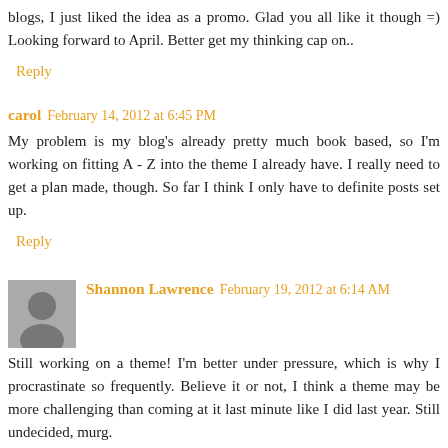blogs, I just liked the idea as a promo. Glad you all like it though =) Looking forward to April. Better get my thinking cap on..
Reply
carol February 14, 2012 at 6:45 PM
My problem is my blog's already pretty much book based, so I'm working on fitting A - Z into the theme I already have. I really need to get a plan made, though. So far I think I only have to definite posts set up.
Reply
Shannon Lawrence February 19, 2012 at 6:14 AM
Still working on a theme! I'm better under pressure, which is why I procrastinate so frequently. Believe it or not, I think a theme may be more challenging than coming at it last minute like I did last year. Still undecided, murg.
Shannon at The Warrior Muse as host of the 2012